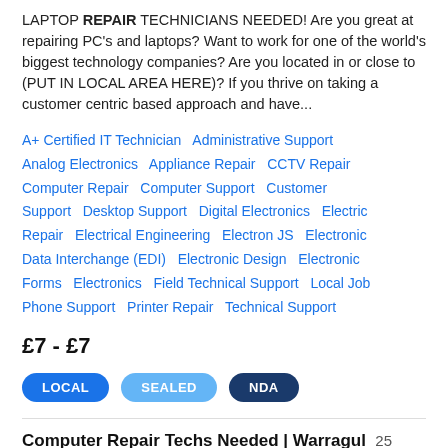LAPTOP REPAIR TECHNICIANS NEEDED! Are you great at repairing PC's and laptops? Want to work for one of the world's biggest technology companies? Are you located in or close to (PUT IN LOCAL AREA HERE)? If you thrive on taking a customer centric based approach and have...
A+ Certified IT Technician  Administrative Support  Analog Electronics  Appliance Repair  CCTV Repair  Computer Repair  Computer Support  Customer Support  Desktop Support  Digital Electronics  Electric Repair  Electrical Engineering  Electron JS  Electronic Data Interchange (EDI)  Electronic Design  Electronic Forms  Electronics  Field Technical Support  Local Job  Phone Support  Printer Repair  Technical Support
£7 - £7
LOCAL  SEALED  NDA
Computer Repair Techs Needed | Warragul  25 days left   VERIFIED